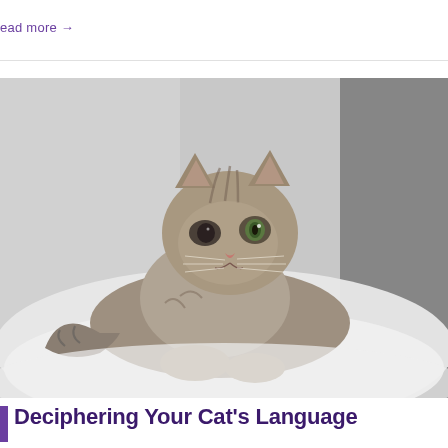ead more →
[Figure (photo): A tabby cat with green eyes lying on a white blanket, looking directly at the camera. The photo is in a slightly desaturated style with blurred background.]
Deciphering Your Cat's Language